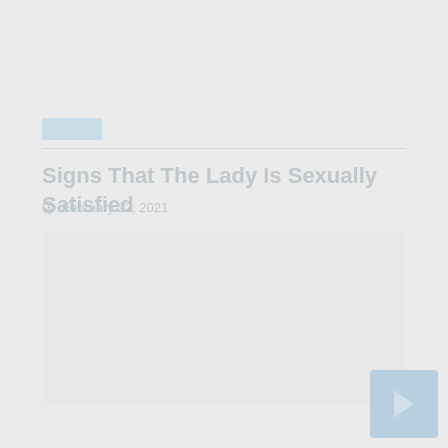Dating
Signs That The Lady Is Sexually Satisfied
February 22, 2021